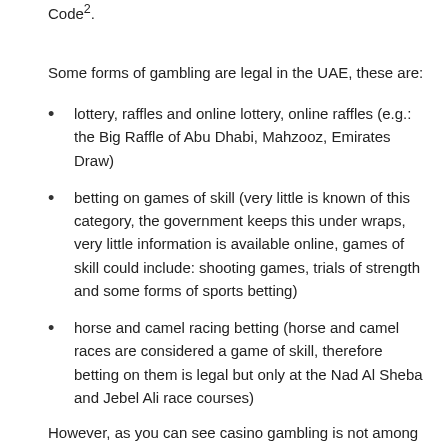Code².
Some forms of gambling are legal in the UAE, these are:
lottery, raffles and online lottery, online raffles (e.g.: the Big Raffle of Abu Dhabi, Mahzooz, Emirates Draw)
betting on games of skill (very little is known of this category, the government keeps this under wraps, very little information is available online, games of skill could include: shooting games, trials of strength and some forms of sports betting)
horse and camel racing betting (horse and camel races are considered a game of skill, therefore betting on them is legal but only at the Nad Al Sheba and Jebel Ali race courses)
However, as you can see casino gambling is not among